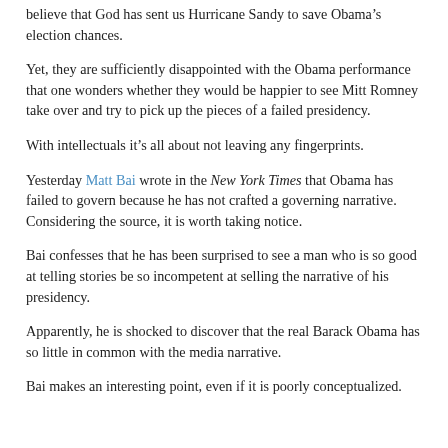believe that God has sent us Hurricane Sandy to save Obama’s election chances.
Yet, they are sufficiently disappointed with the Obama performance that one wonders whether they would be happier to see Mitt Romney take over and try to pick up the pieces of a failed presidency.
With intellectuals it’s all about not leaving any fingerprints.
Yesterday Matt Bai wrote in the New York Times that Obama has failed to govern because he has not crafted a governing narrative. Considering the source, it is worth taking notice.
Bai confesses that he has been surprised to see a man who is so good at telling stories be so incompetent at selling the narrative of his presidency.
Apparently, he is shocked to discover that the real Barack Obama has so little in common with the media narrative.
Bai makes an interesting point, even if it is poorly conceptualized.